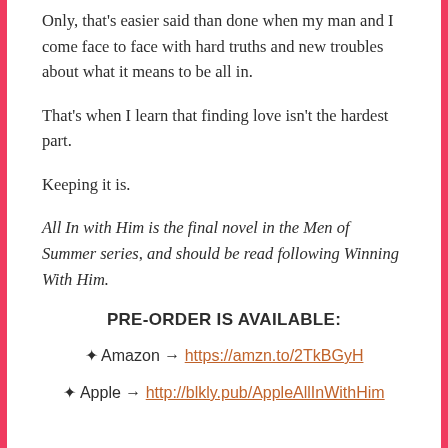Only, that's easier said than done when my man and I come face to face with hard truths and new troubles about what it means to be all in.
That's when I learn that finding love isn't the hardest part.
Keeping it is.
All In with Him is the final novel in the Men of Summer series, and should be read following Winning With Him.
PRE-ORDER IS AVAILABLE:
✦ Amazon → https://amzn.to/2TkBGyH
✦ Apple → http://blkly.pub/AppleAllInWithHim